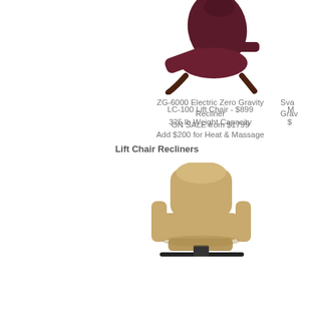[Figure (photo): Dark burgundy/maroon leather electric zero gravity recliner chair with wooden base, partially reclined, shown from the side.]
ZG-6000 Electric Zero Gravity Recliner
ON SALE from $1799
Sva
Grav
Lift Chair Recliners
[Figure (photo): Tan/beige fabric lift chair recliner with black metal base mechanism, shown in an upright position.]
LC-100 Lift Chair - $899
325 lb Weight Capacity
Add $200 for Heat & Massage
M
$